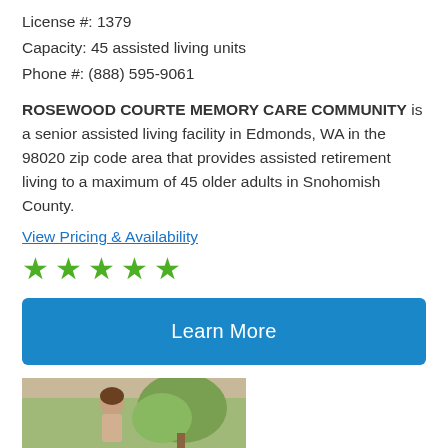License #: 1379
Capacity: 45 assisted living units
Phone #: (888) 595-9061
ROSEWOOD COURTE MEMORY CARE COMMUNITY is a senior assisted living facility in Edmonds, WA in the 98020 zip code area that provides assisted retirement living to a maximum of 45 older adults in Snohomish County.
View Pricing & Availability
[Figure (other): Five green star rating icons]
Learn More
[Figure (photo): Partial photo showing a person and greenery/plants in background]